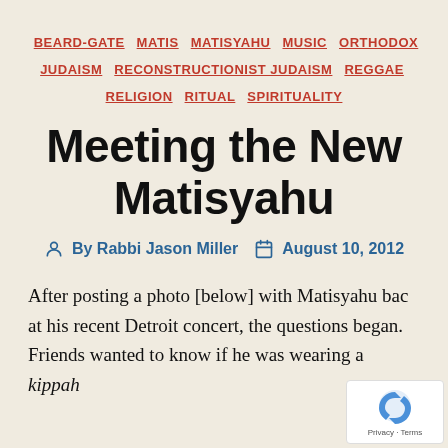BEARD-GATE  MATIS  MATISYAHU  MUSIC  ORTHODOX JUDAISM  RECONSTRUCTIONIST JUDAISM  REGGAE  RELIGION  RITUAL  SPIRITUALITY
Meeting the New Matisyahu
By Rabbi Jason Miller  August 10, 2012
After posting a photo [below] with Matisyahu back at his recent Detroit concert, the questions began. Friends wanted to know if he was wearing a kippah